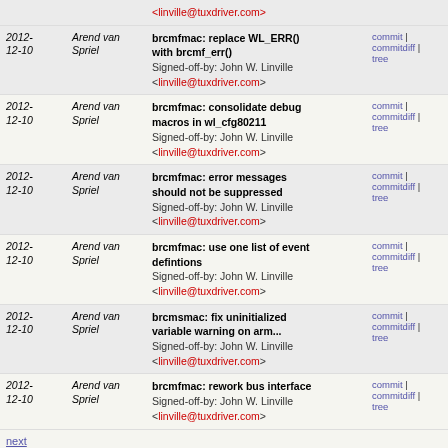| Date | Author | Message | Links |
| --- | --- | --- | --- |
| 2012-12-10 | Arend van Spriel | brcmfmac: replace WL_ERR() with brcmf_err()
Signed-off-by: John W. Linville <linville@tuxdriver.com> | commit | commitdiff | tree |
| 2012-12-10 | Arend van Spriel | brcmfmac: consolidate debug macros in wl_cfg80211
Signed-off-by: John W. Linville <linville@tuxdriver.com> | commit | commitdiff | tree |
| 2012-12-10 | Arend van Spriel | brcmfmac: error messages should not be suppressed
Signed-off-by: John W. Linville <linville@tuxdriver.com> | commit | commitdiff | tree |
| 2012-12-10 | Arend van Spriel | brcmfmac: use one list of event defintions
Signed-off-by: John W. Linville <linville@tuxdriver.com> | commit | commitdiff | tree |
| 2012-12-10 | Arend van Spriel | brcmsmac: fix uninitialized variable warning on arm...
Signed-off-by: John W. Linville <linville@tuxdriver.com> | commit | commitdiff | tree |
| 2012-12-10 | Arend van Spriel | brcmfmac: rework bus interface
Signed-off-by: John W. Linville <linville@tuxdriver.com> | commit | commitdiff | tree |
next
RDMA kernel development